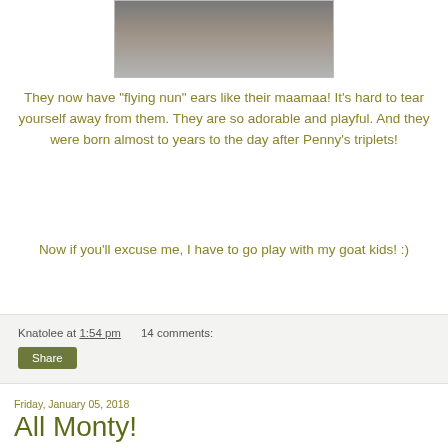[Figure (photo): Partial photo of animals (goat kids) visible at top of page]
They now have "flying nun" ears like their maamaa! It's hard to tear yourself away from them. They are so adorable and playful. And they were born almost to years to the day after Penny's triplets!
Now if you'll excuse me, I have to go play with my goat kids! :)
Knatolee at 1:54 pm    14 comments:
Share
Friday, January 05, 2018
All Monty!